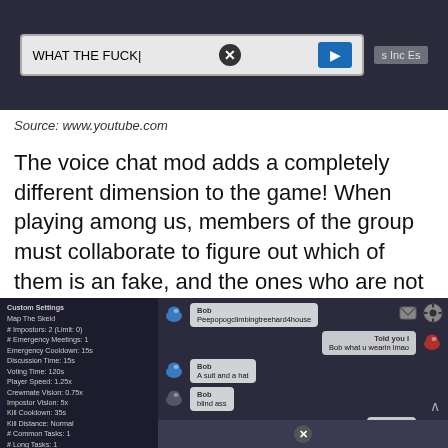[Figure (screenshot): Screenshot of Among Us voice chat mod showing a text input field with 'WHAT THE FUCK' typed, an X button, and a blue arrow send button on a dark background.]
Source: www.youtube.com
The voice chat mod adds a completely different dimension to the game! When playing among us, members of the group must collaborate to figure out which of them is an fake, and the ones who are not remain hidden and be eliminated from the group.
[Figure (screenshot): Screenshot of Among Us game showing Custom Settings panel on left (Map: The Skeld, # Impostors: 2 (Limit: 0), # Emergency Meetings: 1, Emergency Cooldown: 15s, Discussion Time: 15s, Voting Time: 120s, Player Speed: 1.25x, Crewmate Vision: 0.75x, Impostor Vision: 5x, Kill Cooldown: 35s, Kill Distance: Normal, # Common Tasks: 1, # Long Tasks: 1, # Short Tasks: 3) and chat panel on right with messages: Bob 'Peepopogclimbingtreehard4house', 'Told you I Bob what u wearin lmao', Bob 'A suit and a hat', Bob 'blind ass', 'Told you I LMAO']